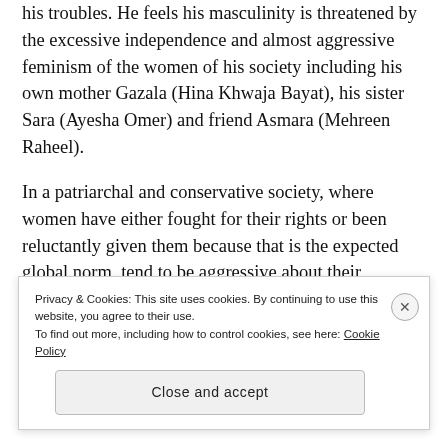his troubles. He feels his masculinity is threatened by the excessive independence and almost aggressive feminism of the women of his society including his own mother Gazala (Hina Khwaja Bayat), his sister Sara (Ayesha Omer) and friend Asmara (Mehreen Raheel).
In a patriarchal and conservative society, where women have either fought for their rights or been reluctantly given them because that is the expected global norm, tend to be aggressive about their freedom. This in turn makes the men more
Privacy & Cookies: This site uses cookies. By continuing to use this website, you agree to their use.
To find out more, including how to control cookies, see here: Cookie Policy
Close and accept